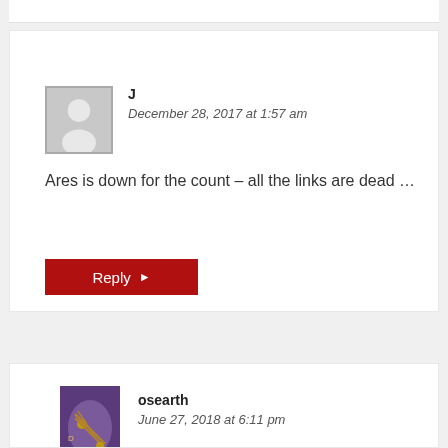J
December 28, 2017 at 1:57 am
Ares is down for the count – all the links are dead …
Reply ▶
osearth
June 27, 2018 at 6:11 pm